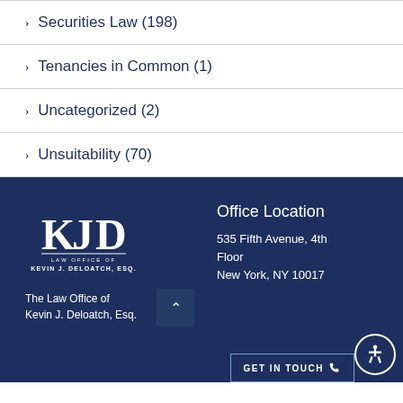Securities Law (198)
Tenancies in Common (1)
Uncategorized (2)
Unsuitability (70)
[Figure (logo): KJD Law Office of Kevin J. Deloatch, Esq. logo in white on dark navy background]
The Law Office of Kevin J. Deloatch, Esq.
Office Location
535 Fifth Avenue, 4th Floor
New York, NY 10017